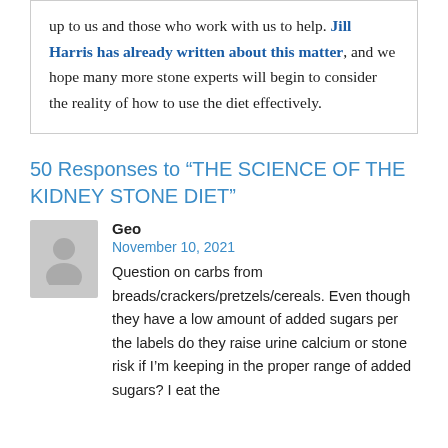up to us and those who work with us to help. Jill Harris has already written about this matter, and we hope many more stone experts will begin to consider the reality of how to use the diet effectively.
50 Responses to “THE SCIENCE OF THE KIDNEY STONE DIET”
Geo
November 10, 2021
Question on carbs from breads/crackers/pretzels/cereals. Even though they have a low amount of added sugars per the labels do they raise urine calcium or stone risk if I’m keeping in the proper range of added sugars? I eat the